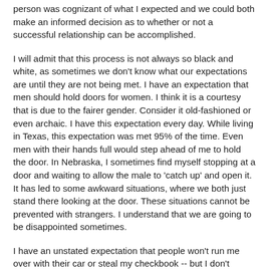person was cognizant of what I expected and we could both make an informed decision as to whether or not a successful relationship can be accomplished.
I will admit that this process is not always so black and white, as sometimes we don't know what our expectations are until they are not being met. I have an expectation that men should hold doors for women. I think it is a courtesy that is due to the fairer gender. Consider it old-fashioned or even archaic. I have this expectation every day. While living in Texas, this expectation was met 95% of the time. Even men with their hands full would step ahead of me to hold the door. In Nebraska, I sometimes find myself stopping at a door and waiting to allow the male to 'catch up' and open it. It has led to some awkward situations, where we both just stand there looking at the door. These situations cannot be prevented with strangers. I understand that we are going to be disappointed sometimes.
I have an unstated expectation that people won't run me over with their car or steal my checkbook -- but I don't HAVE to state these expectations, the law does it for me. One